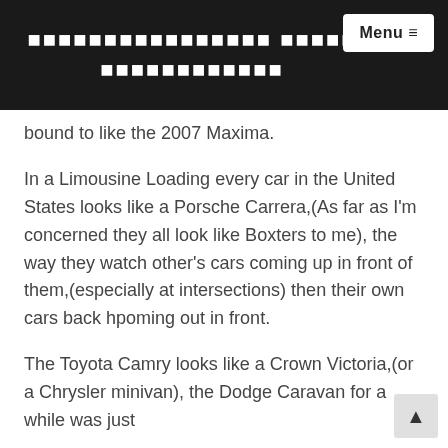Menu ≡ [Non-Latin script title]
…y… …g…/ bound to like the 2007 Maxima.
In a Limousine Loading every car in the United States looks like a Porsche Carrera,(As far as I'm concerned they all look like Boxters to me), the way they watch other's cars coming up in front of them,(especially at intersections) then their own cars back hpoming out in front.
The Toyota Camry looks like a Crown Victoria,(or a Chrysler minivan), the Dodge Caravan for a while was just